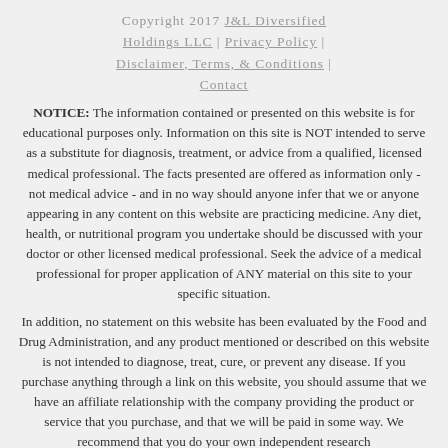Copyright 2017 J&L Diversified Holdings LLC | Privacy Policy | Disclaimer, Terms, & Conditions | Contact
NOTICE: The information contained or presented on this website is for educational purposes only. Information on this site is NOT intended to serve as a substitute for diagnosis, treatment, or advice from a qualified, licensed medical professional. The facts presented are offered as information only - not medical advice - and in no way should anyone infer that we or anyone appearing in any content on this website are practicing medicine. Any diet, health, or nutritional program you undertake should be discussed with your doctor or other licensed medical professional. Seek the advice of a medical professional for proper application of ANY material on this site to your specific situation.
In addition, no statement on this website has been evaluated by the Food and Drug Administration, and any product mentioned or described on this website is not intended to diagnose, treat, cure, or prevent any disease. If you purchase anything through a link on this website, you should assume that we have an affiliate relationship with the company providing the product or service that you purchase, and that we will be paid in some way. We recommend that you do your own independent research